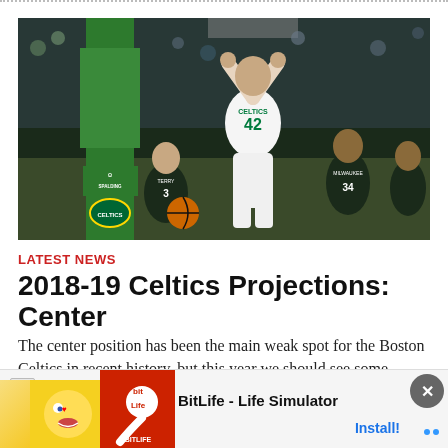[Figure (photo): Basketball game photo showing a Boston Celtics player wearing number 42 dunking the ball, while Milwaukee Bucks players (including #3 Terry and #34) watch. A Spalding-branded backboard is visible. The arena is full of fans.]
LATEST NEWS
2018-19 Celtics Projections: Center
The center position has been the main weak spot for the Boston Celtics in recent history, but this year we should see some improvement at the five. The d...
[Figure (screenshot): Advertisement banner for BitLife - Life Simulator app. Shows a cartoon character icon on yellow background, BitLife red logo, app name 'BitLife - Life Simulator', and an Install button. Has an Ad label and close button.]